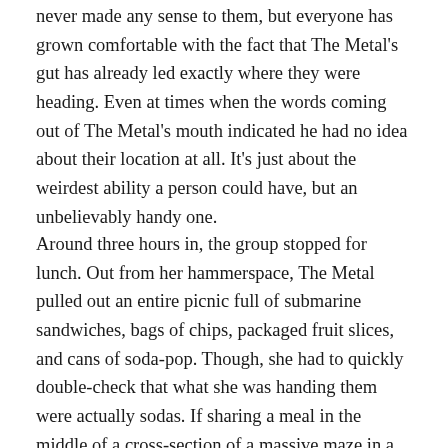never made any sense to them, but everyone has grown comfortable with the fact that The Metal's gut has already led exactly where they were heading. Even at times when the words coming out of The Metal's mouth indicated he had no idea about their location at all. It's just about the weirdest ability a person could have, but an unbelievably handy one.
Around three hours in, the group stopped for lunch. Out from her hammerspace, The Metal pulled out an entire picnic full of submarine sandwiches, bags of chips, packaged fruit slices, and cans of soda-pop. Though, she had to quickly double-check that what she was handing them were actually sodas. If sharing a meal in the middle of a cross-section of a massive maze in a foreign country on the opposite side of the planet wasn't a unique enough experience for them, it got a lot weirder when they heard footsteps echoing down the cold and stony halls